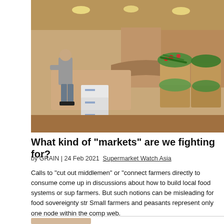[Figure (photo): Indoor market scene with a vendor standing near white crates and baskets of fresh vegetables including greens, tomatoes, and other produce displayed on tables.]
What kind of "markets" are we fighting for?
by GRAIN | 24 Feb 2021 Supermarket Watch Asia
Calls to "cut out middlemen" or "connect farmers directly to consumers" come up in discussions about how to build local food systems or support farmers. But such notions can be misleading for food sovereignty struggles. Small farmers and peasants represent only one node within the complex web.